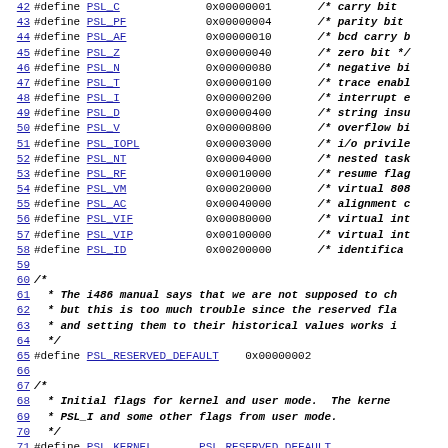Source code listing showing PSL (processor status) flag definitions and related comments, lines 42-74
42 #define PSL_C   0x00000001  /* carry bit */
43 #define PSL_PF  0x00000004  /* parity bit */
44 #define PSL_AF  0x00000010  /* bcd carry bit */
45 #define PSL_Z   0x00000040  /* zero bit */
46 #define PSL_N   0x00000080  /* negative bit */
47 #define PSL_T   0x00000100  /* trace enable */
48 #define PSL_I   0x00000200  /* interrupt enable */
49 #define PSL_D   0x00000400  /* string instruction */
50 #define PSL_V   0x00000800  /* overflow bit */
51 #define PSL_IOPL 0x00003000 /* i/o privilege */
52 #define PSL_NT  0x00004000  /* nested task */
53 #define PSL_RF  0x00010000  /* resume flag */
54 #define PSL_VM  0x00020000  /* virtual 8086 */
55 #define PSL_AC  0x00040000  /* alignment check */
56 #define PSL_VIF 0x00080000  /* virtual interrupt */
57 #define PSL_VIP 0x00100000  /* virtual interrupt pending */
58 #define PSL_ID  0x00200000  /* identification */
59
60 /*
61  * The i486 manual says that we are not supposed to change...
62  * but this is too much trouble since the reserved flags...
63  * and setting them to their historical values works...
64  */
65 #define PSL_RESERVED_DEFAULT 0x00000002
66
67 /*
68  * Initial flags for kernel and user mode. The kernel...
69  * PSL_I and some other flags from user mode.
70  */
71 #define PSL_KERNEL  PSL_RESERVED_DEFAULT
72 #define PSL_USER    (PSL_RESERVED_DEFAULT | PSL_I...
73
74 /*